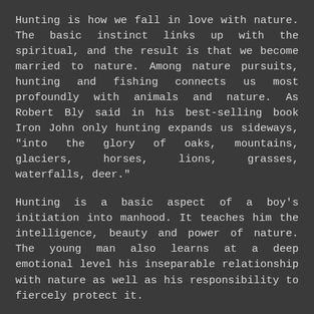Hunting is how we fall in love with nature. The basic instinct links up with the spiritual, and the result is that we become married to nature. Among nature pursuits, hunting and fishing connects us most profoundly with animals and nature. As Robert Bly said in his best-selling book Iron John only hunting expands us sideways, "into the glory of oaks, mountains, glaciers, horses, lions, grasses, waterfalls, deer."
Hunting is a basic aspect of a boy's initiation into manhood. It teaches him the intelligence, beauty and power of nature. The young man also learns at a deep emotional level his inseparable relationship with nature as well as his responsibility to fiercely protect it.
Essentially, hunting is a spiritual experience precisely because it submerges us in nature, and that experience teaches us that we are participants in something far greater than man. Ortega y Gasset, the Spanish philosopher, described the hunter as the alert man. He could not have said it better. When we hunt we experience extreme alertness to the point of an altered state of consciousness.